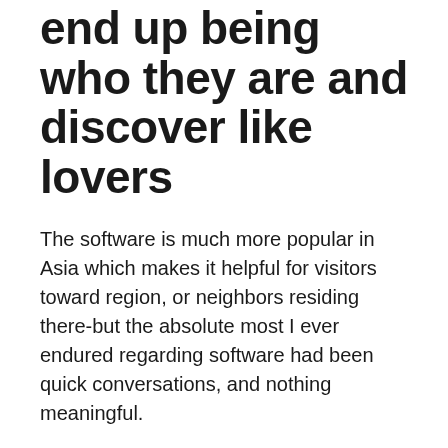end up being who they are and discover like lovers
The software is much more popular in Asia which makes it helpful for visitors toward region, or neighbors residing there-but the absolute most I ever endured regarding software had been quick conversations, and nothing meaningful.
This website was a free web resource that strives available helpful content material and evaluation properties to their customers. On the extent that reviews show up on this incredible website, such standing is